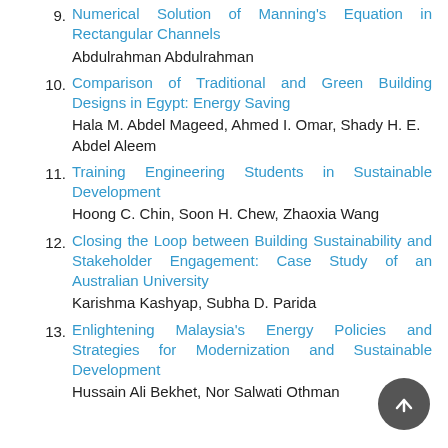9. Numerical Solution of Manning's Equation in Rectangular Channels
Abdulrahman Abdulrahman
10. Comparison of Traditional and Green Building Designs in Egypt: Energy Saving
Hala M. Abdel Mageed, Ahmed I. Omar, Shady H. E. Abdel Aleem
11. Training Engineering Students in Sustainable Development
Hoong C. Chin, Soon H. Chew, Zhaoxia Wang
12. Closing the Loop between Building Sustainability and Stakeholder Engagement: Case Study of an Australian University
Karishma Kashyap, Subha D. Parida
13. Enlightening Malaysia's Energy Policies and Strategies for Modernization and Sustainable Development
Hussain Ali Bekhet, Nor Salwati Othman